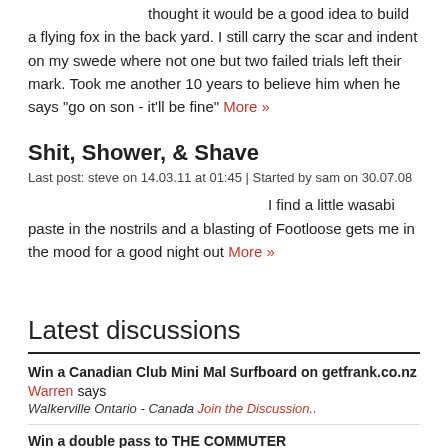thought it would be a good idea to build a flying fox in the back yard. I still carry the scar and indent on my swede where not one but two failed trials left their mark. Took me another 10 years to believe him when he says "go on son - it'll be fine" More »
Shit, Shower, & Shave
Last post: steve on 14.03.11 at 01:45 | Started by sam on 30.07.08
I find a little wasabi paste in the nostrils and a blasting of Footloose gets me in the mood for a good night out More »
Latest discussions
Win a Canadian Club Mini Mal Surfboard on getfrank.co.nz
Warren says
Walkerville Ontario - Canada Join the Discussion..
Win a double pass to THE COMMUTER
Ricky says
Looking up / some filmography I was astounded that the sheer number of films he